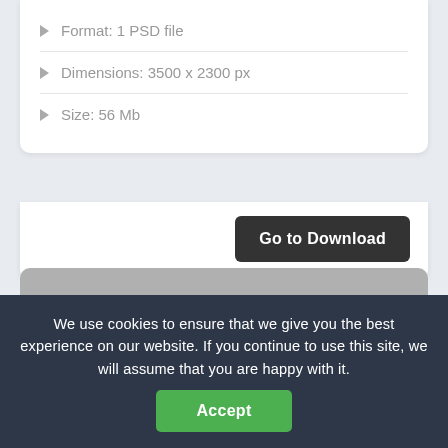Format: 1 PSD file
Dimensions: 3500 x 2300 px
Size: 56 Mb
Go to Download
[Figure (screenshot): A mockup paper/card preview with 'FREE MOCKUP' and 'PSD' labels and bar chart graphic on grey background]
We use cookies to ensure that we give you the best experience on our website. If you continue to use this site, we will assume that you are happy with it.
Accept